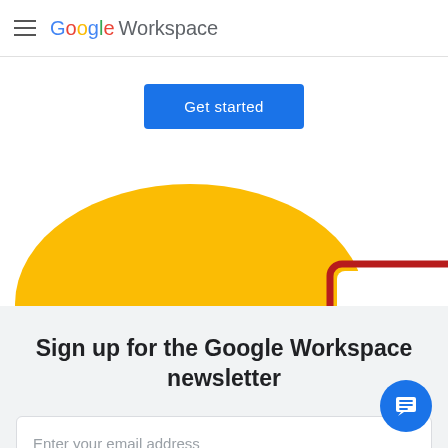Google Workspace
[Figure (other): Blue 'Get started' button]
[Figure (illustration): Partial illustration showing a yellow semicircle (sun/dome shape) and a red rounded rectangle, partially visible at bottom of white area]
Sign up for the Google Workspace newsletter
Enter your email address
[Figure (other): Blue circular chat/feedback FAB button with document/lines icon]